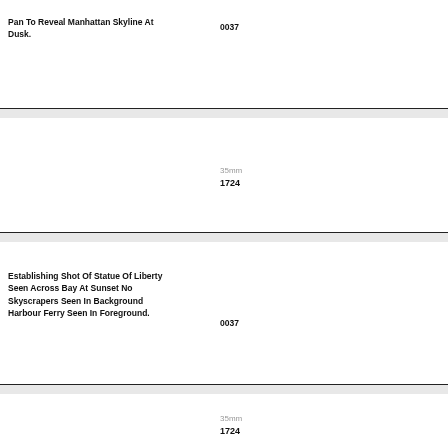Pan To Reveal Manhattan Skyline At Dusk.
0037
35mm
1724
Establishing Shot Of Statue Of Liberty Seen Across Bay At Sunset No Skyscrapers Seen In Background Harbour Ferry Seen In Foreground.
0037
35mm
1724